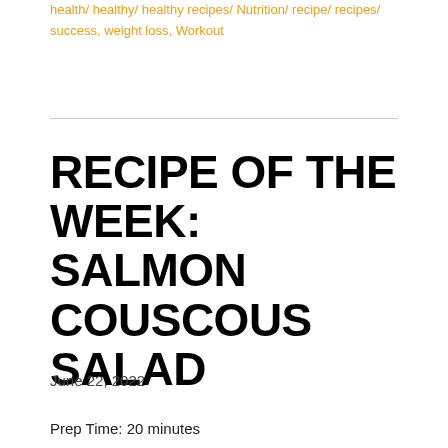health/ healthy/ healthy recipes/ Nutrition/ recipe/ recipes/ success, weight loss, Workout
RECIPE OF THE WEEK: SALMON COUSCOUS SALAD
June 22, 2022
Prep Time: 20 minutes